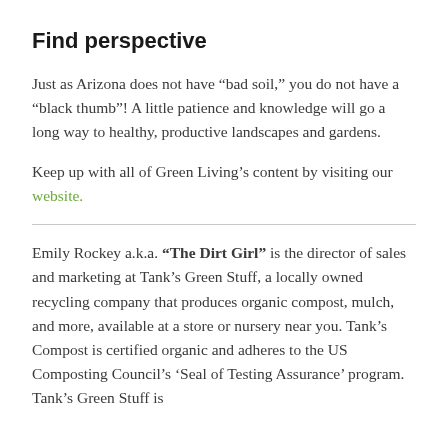Find perspective
Just as Arizona does not have “bad soil,” you do not have a “black thumb”! A little patience and knowledge will go a long way to healthy, productive landscapes and gardens.
Keep up with all of Green Living’s content by visiting our website.
Emily Rockey a.k.a. “The Dirt Girl” is the director of sales and marketing at Tank’s Green Stuff, a locally owned recycling company that produces organic compost, mulch, and more, available at a store or nursery near you. Tank’s Compost is certified organic and adheres to the US Composting Council’s ‘Seal of Testing Assurance’ program. Tank’s Green Stuff is